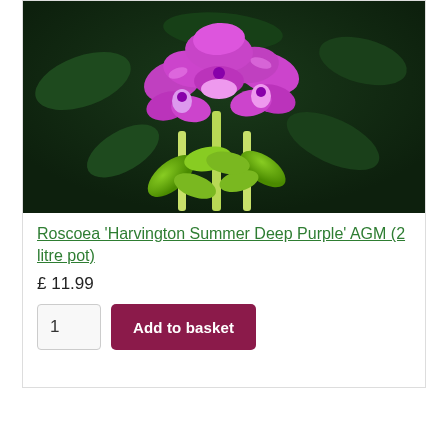[Figure (photo): Purple Roscoea flowers with bright magenta petals and green leaves against a dark green leafy background]
Roscoea 'Harvington Summer Deep Purple' AGM (2 litre pot)
£ 11.99